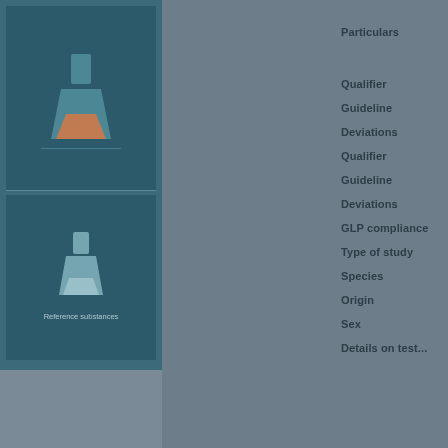[Figure (illustration): Dark teal book cover with flask/beaker icon at top and bottom sections]
Reference substances
Particulars
Qualifier
Guideline
Deviations
Qualifier
Guideline
Deviations
GLP compliance
Type of study
Species
Origin
Sex
Details on test...